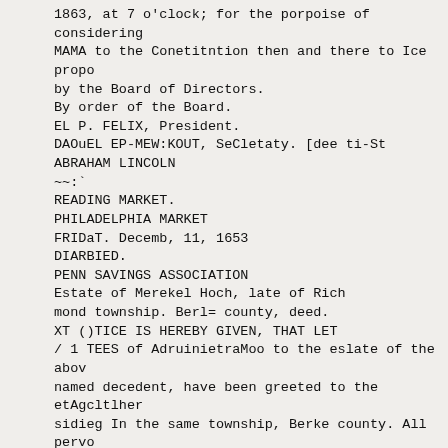1863, at 7 o'clock; for the porpoise of considering MAMA to the Conetitntion then and there to Ice propo by the Board of Directors.
By order of the Board.
EL P. FELIX, President.
DAOuEL EP-MEW:KOUT, SeCletaty. [dee ti-St
ABRAHAM LINCOLN
~~:`
READING MARKET.
PHILADELPHIA MARKET
FRIDaT. Decemb, 11, 1653
DIARBIED.
PENN SAVINGS ASSOCIATION
Estate of Merekel Hoch, late of Rich mond township. Berl= county, deed.
XT ()TICE IS HEREBY GIVEN, THAT LET / 1 TEES of AdruinietraMoo to the eslate of the abov named decedent, have been greeted to the etAgcltlher sidieg In the same township, Berke county. All pervo indelitill to said estate are regneated to makepayme withoat delay, and all who have claims or demands anainet the name, are also requested to pre.,eut the ecry ar t tkontlcaked, for sottlaMent.
aec s—et] LEVI A. HAAa, Admiulatrator.
CHRISTMAS